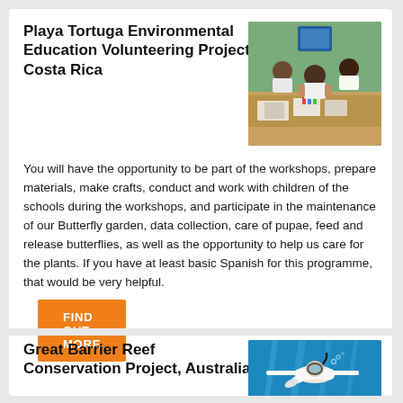Playa Tortuga Environmental Education Volunteering Project, Costa Rica
[Figure (photo): Children sitting at a table doing crafts/drawing activities in a classroom setting]
You will have the opportunity to be part of the workshops, prepare materials, make crafts, conduct and work with children of the schools during the workshops, and participate in the maintenance of our Butterfly garden, data collection, care of pupae, feed and release butterflies, as well as the opportunity to help us care for the plants. If you have at least basic Spanish for this programme, that would be very helpful.
FIND OUT MORE
Great Barrier Reef Conservation Project, Australia
[Figure (photo): A diver swimming underwater with snorkeling gear against a bright blue water background]
Join a marine conservation internship in